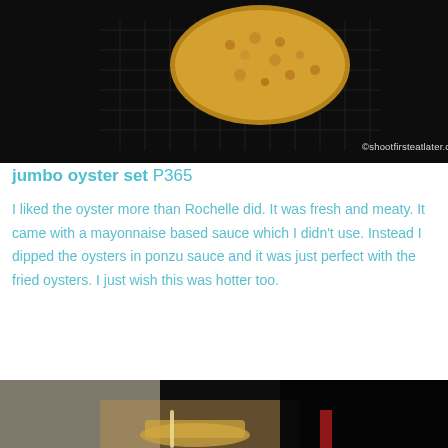[Figure (photo): Top photo of breaded fried oyster on a metal wire rack, dark background, with watermark ©shootfirsteatlater.com in bottom right corner]
jumbo oyster set P365
I liked the oyster more than Rochelle did. It was fresh and meaty. It came with a mayonnaise based sauce which I didn't use. Instead I dipped the oysters in ponzu sauce and it was just perfect with the fried oysters. I just wish this was hotter too.
[Figure (photo): Bottom photo showing a close-up blurred shot of food on chopsticks/skewer on a restaurant table, warm tones, blurry background]